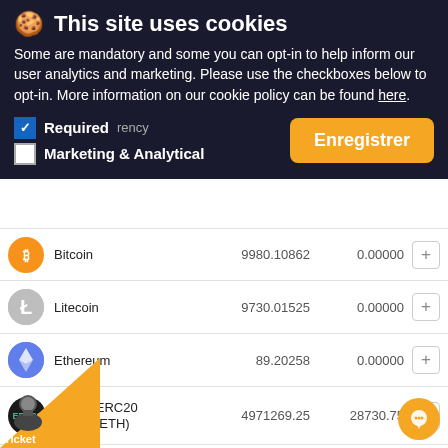[Figure (screenshot): Cookie consent banner overlay on a cryptocurrency exchange page. Banner has dark background with cookie emoji icon, title 'This site uses cookies', descriptive text, Required checkbox (checked), Marketing & Analytical checkbox (unchecked), and orange 'Enregistrer' save button.]
This site uses cookies
Some are mandatory and some you can opt-in to help inform our user analytics and marketing. Please use the checkboxes below to opt-in. More information on our cookie policy can be found here.
Required
Marketing & Analytical
| Currency | Value 1 | Value 2 |  |
| --- | --- | --- | --- |
| Bitcoin | 9980.10862 | 0.00000 | + |
| Litecoin | 9730.01525 | 0.00000 | + |
| Ethereum | 89.20258 | 0.00000 | + |
| Tether ERC20 (USDT/ETH) | 4971269.25 | 28730.75 | + |
| Tether TRC20 (USDT) | 4810226.43 | 189773.57 | + |
| eUSD via (ERC20) | 999900.00 | 100.00 | + |